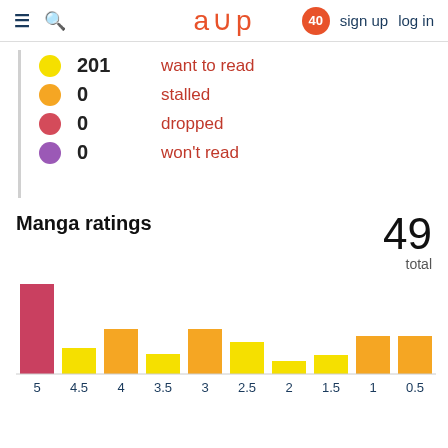≡ 🔍  a∪p  40  sign up  log in
● 201  want to read
● 0  stalled
● 0  dropped
● 0  won't read
Manga ratings  49 total
[Figure (bar-chart): Manga ratings]